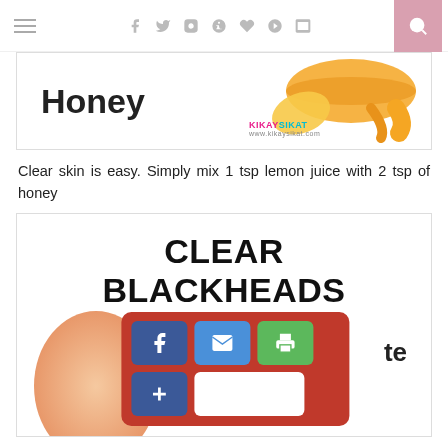Navigation header with hamburger menu, social icons (f, twitter, instagram, pinterest, heart, g+, youtube), and search button
[Figure (infographic): Image banner showing the word Honey in bold text on left, and decorative honey/lemon imagery with KikaySikat.com logo on the right]
Clear skin is easy. Simply mix 1 tsp lemon juice with 2 tsp of honey
[Figure (infographic): Infographic with CLEAR BLACKHEADS title text in large bold font, a partial face/circle graphic, social sharing buttons overlay (Facebook, email, print, plus, blank), and partial text ending in 'te']